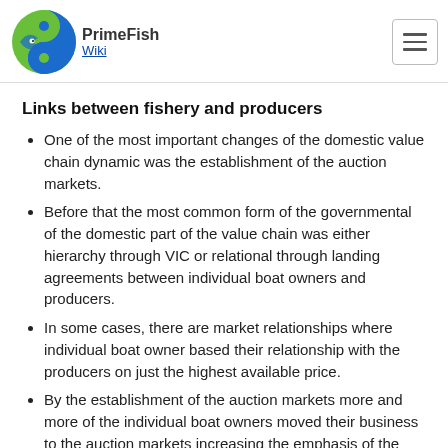PrimeFish Wiki
Links between fishery and producers
One of the most important changes of the domestic value chain dynamic was the establishment of the auction markets.
Before that the most common form of the governmental of the domestic part of the value chain was either hierarchy through VIC or relational through landing agreements between individual boat owners and producers.
In some cases, there are market relationships where individual boat owner based their relationship with the producers on just the highest available price.
By the establishment of the auction markets more and more of the individual boat owners moved their business to the auction markets increasing the emphasis of the market form.
Then after the implementing the ITQ system more of the TAC moved to the VIC as can be seen that only around 15% of cod is sold through the auction markets and around 70% thought he VICs.
There are mainly two form of governmental structure in the